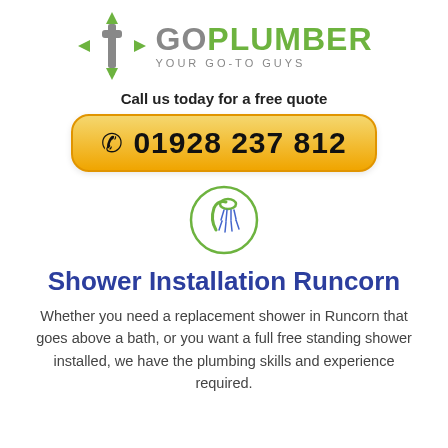[Figure (logo): GoPlumber logo with green faucet/wrench icon and text GO PLUMBER YOUR GO-TO GUYS]
Call us today for a free quote
📞 01928 237 812
[Figure (illustration): Green circle with shower head icon inside]
Shower Installation Runcorn
Whether you need a replacement shower in Runcorn that goes above a bath, or you want a full free standing shower installed, we have the plumbing skills and experience required.